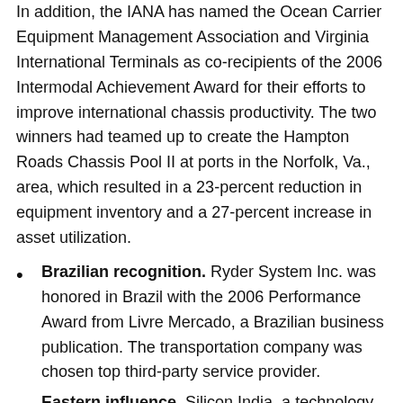In addition, the IANA has named the Ocean Carrier Equipment Management Association and Virginia International Terminals as co-recipients of the 2006 Intermodal Achievement Award for their efforts to improve international chassis productivity. The two winners had teamed up to create the Hampton Roads Chassis Pool II at ports in the Norfolk, Va., area, which resulted in a 23-percent reduction in equipment inventory and a 27-percent increase in asset utilization.
Brazilian recognition. Ryder System Inc. was honored in Brazil with the 2006 Performance Award from Livre Mercado, a Brazilian business publication. The transportation company was chosen top third-party service provider.
Eastern influence. Silicon India, a technology magazine in India, has recognized Savi Technology